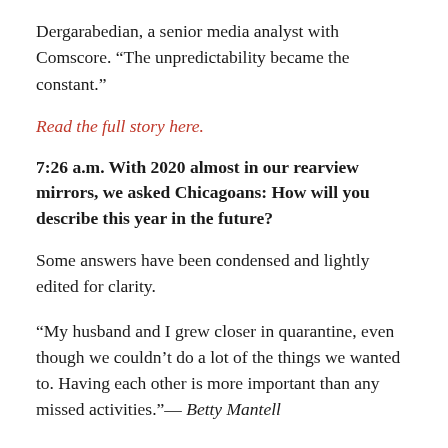Dergarabedian, a senior media analyst with Comscore. “The unpredictability became the constant.”
Read the full story here.
7:26 a.m. With 2020 almost in our rearview mirrors, we asked Chicagoans: How will you describe this year in the future?
Some answers have been condensed and lightly edited for clarity.
“My husband and I grew closer in quarantine, even though we couldn’t do a lot of the things we wanted to. Having each other is more important than any missed activities.”— Betty Mantell
“It was the year I saw another side of some of the